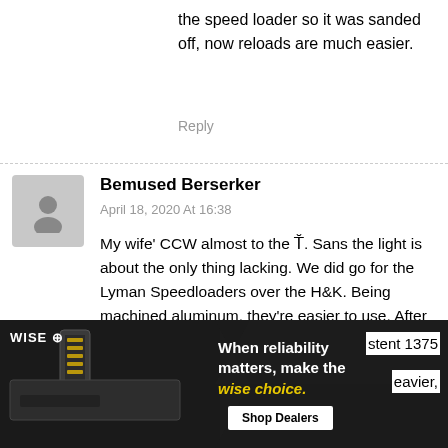the speed loader so it was sanded off, now reloads are much easier.
Reply
Bemused Berserker
April 18, 2020 At 16:38
My wife' CCW almost to the T̆. Sans the light is about the only thing lacking. We did go for the Lyman Speedloaders over the H&K. Being machined aluminum, they're easier to use. After putting the CT grips on, it was necessary to wiggle the loader to get it to fit, the Lyman corrected that issue. She's carrying the Liberty Civil Defense 50gr HPs that are
[Figure (photo): WISE brand advertisement showing firearm/magazine with text 'When reliability matters, make the wise choice.' and 'Shop Dealers' button]
stent 1375
eavier,